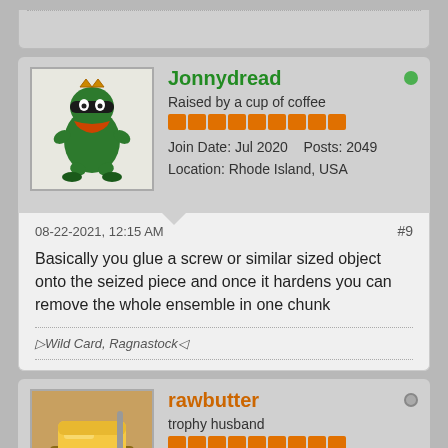[Figure (screenshot): Top partial post remnant from previous forum post]
Jonnydread
Raised by a cup of coffee
Join Date: Jul 2020    Posts: 2049
Location: Rhode Island, USA
08-22-2021, 12:15 AM
#9
Basically you glue a screw or similar sized object onto the seized piece and once it hardens you can remove the whole ensemble in one chunk
Wild Card, Ragnastock
rawbutter
trophy husband
Join Date: Jul 2020    Posts: 240
Location: Fredericksburg, VA